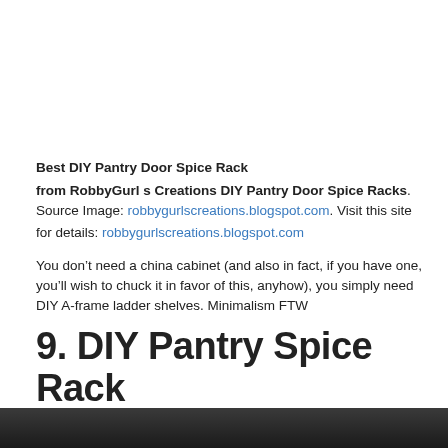Best DIY Pantry Door Spice Rack
from RobbyGurl s Creations DIY Pantry Door Spice Racks. Source Image: robbygurlscreations.blogspot.com. Visit this site for details: robbygurlscreations.blogspot.com
You don’t need a china cabinet (and also in fact, if you have one, you’ll wish to chuck it in favor of this, anyhow), you simply need DIY A-frame ladder shelves. Minimalism FTW
9. DIY Pantry Spice Rack
[Figure (photo): Bottom edge of a photo showing a dark pantry or cabinet interior]